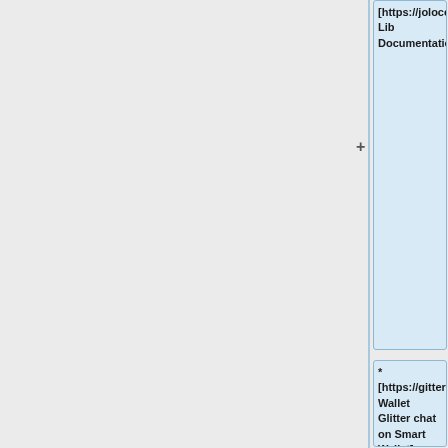[https://jolocom-lib.readthedocs.io/_/downloads/en/latest/pdf/Jolocom-Lib Documentation]
* [https://gitter.im/jolocom/Smart Wallet Glitter chat on Smart Wallet]
===Connect.me===
===Connect.me===
Line 119:
Line 175: